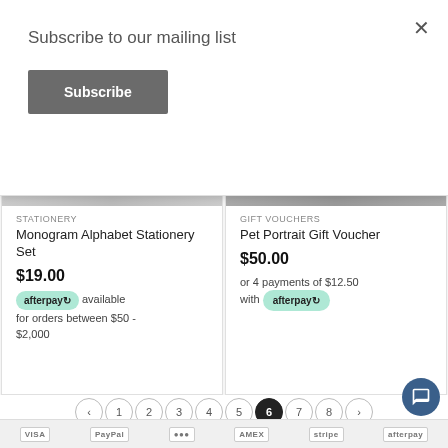Subscribe to our mailing list
Subscribe
STATIONERY
Monogram Alphabet Stationery Set
$19.00
afterpay available for orders between $50 - $2,000
GIFT VOUCHERS
Pet Portrait Gift Voucher
$50.00
or 4 payments of $12.50 with afterpay
< 1 2 3 4 5 6 7 8 >